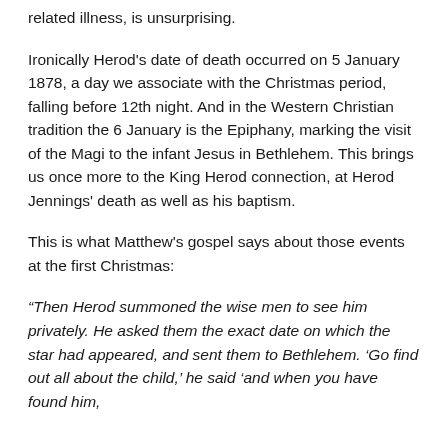related illness, is unsurprising.
Ironically Herod's date of death occurred on 5 January 1878, a day we associate with the Christmas period, falling before 12th night. And in the Western Christian tradition the 6 January is the Epiphany, marking the visit of the Magi to the infant Jesus in Bethlehem. This brings us once more to the King Herod connection, at Herod Jennings' death as well as his baptism.
This is what Matthew's gospel says about those events at the first Christmas:
“Then Herod summoned the wise men to see him privately. He asked them the exact date on which the star had appeared, and sent them to Bethlehem. ‘Go find out all about the child,’ he said ‘and when you have found him,